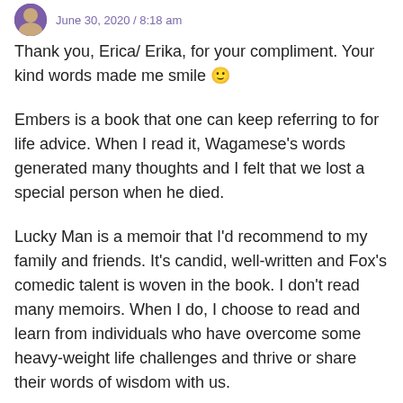June 30, 2020 / 8:18 am
Thank you, Erica/ Erika, for your compliment. Your kind words made me smile 🙂
Embers is a book that one can keep referring to for life advice. When I read it, Wagamese's words generated many thoughts and I felt that we lost a special person when he died.
Lucky Man is a memoir that I'd recommend to my family and friends. It's candid, well-written and Fox's comedic talent is woven in the book. I don't read many memoirs. When I do, I choose to read and learn from individuals who have overcome some heavy-weight life challenges and thrive or share their words of wisdom with us.
It's very kind of you to support bloggers who write